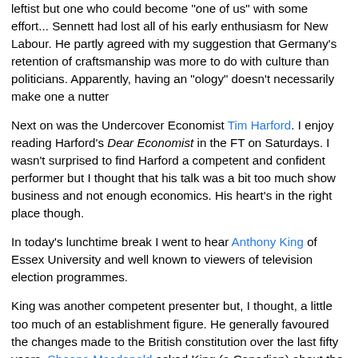leftist but one who could become "one of us" with some effort... Sennett had lost all of his early enthusiasm for New Labour. He partly agreed with my suggestion that Germany's retention of craftsmanship was more to do with culture than politicians. Apparently, having an "ology" doesn't necessarily make one a nutter
Next on was the Undercover Economist Tim Harford. I enjoy reading Harford's Dear Economist in the FT on Saturdays. I wasn't surprised to find Harford a competent and confident performer but I thought that his talk was a bit too much show business and not enough economics. His heart's in the right place though.
In today's lunchtime break I went to hear Anthony King of Essex University and well known to viewers of television election programmes.
King was another competent presenter but, I thought, a little too much of an establishment figure. He generally favoured the changes made to the British constitution over the last fifty years. Sheena Macdonald asked King (a Canadian) about the American constitution. I was saddened to hear the usual